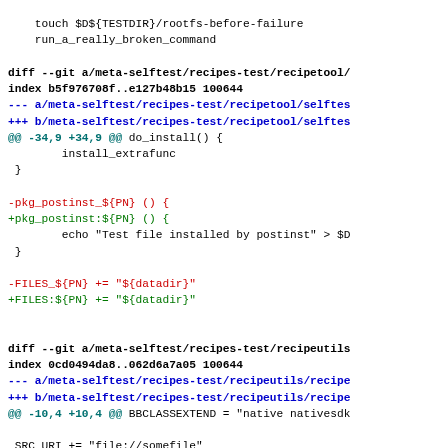touch $D${TESTDIR}/rootfs-before-failure
    run_a_really_broken_command

diff --git a/meta-selftest/recipes-test/recipetool/
index b5f976708f..e127b48b15 100644
--- a/meta-selftest/recipes-test/recipetool/selftes
+++ b/meta-selftest/recipes-test/recipetool/selftes
@@ -34,9 +34,9 @@ do_install() {
        install_extrafunc
 }

-pkg_postinst_${PN} () {
+pkg_postinst:${PN} () {
        echo "Test file installed by postinst" > $D
 }

-FILES_${PN} += "${datadir}"
+FILES:${PN} += "${datadir}"


diff --git a/meta-selftest/recipes-test/recipeutils
index 0cd0494da8..062d6a7a05 100644
--- a/meta-selftest/recipes-test/recipeutils/recipe
+++ b/meta-selftest/recipes-test/recipeutils/recipe
@@ -10,4 +10,4 @@ BBCLASSEXTEND = "native nativesdk

 SRC_URI += "file://somefile"

-SRC_URI_append = " file://anotherfile"
+SRC_URI:append = " file://anotherfile"